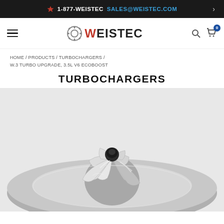1-877-WEISTEC SALES@WEISTEC.COM
[Figure (logo): Weistec logo with gear icon]
HOME / PRODUCTS / TURBOCHARGERS / W.3 TURBO UPGRADE, 3.5L V6 ECOBOOST
TURBOCHARGERS
[Figure (photo): Close-up photo of a turbocharger compressor wheel/billet wheel assembly, silver metallic, viewed from above at an angle, showing multiple curved blades and a center hub with black cap, sitting on a gray disc housing.]